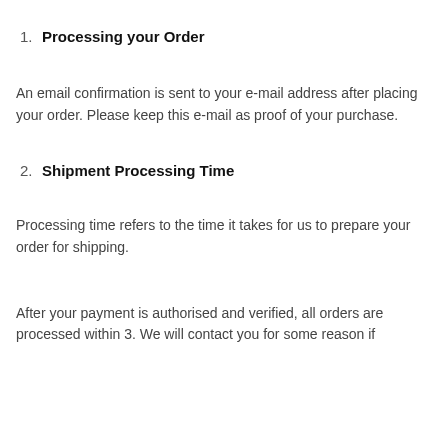1. Processing your Order
An email confirmation is sent to your e-mail address after placing your order. Please keep this e-mail as proof of your purchase.
2. Shipment Processing Time
Processing time refers to the time it takes for us to prepare your order for shipping.
After your payment is authorised and verified, all orders are processed within 3. We will contact you for some reason if